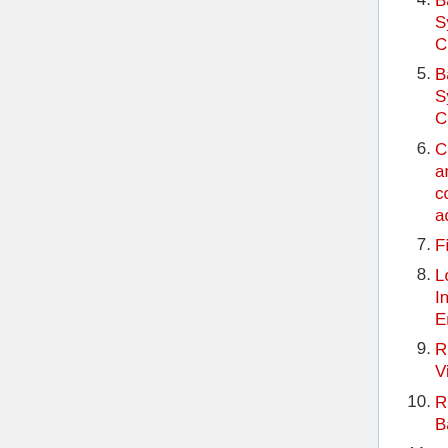4. Basic System Configurations
5. Batch System Configuration
6. Compiling and running code on ada
7. Filesystems
8. Login & Interactive Environment
9. Remote Visualization
10. Running Batch Jobs
11. Software
12. Intel Math